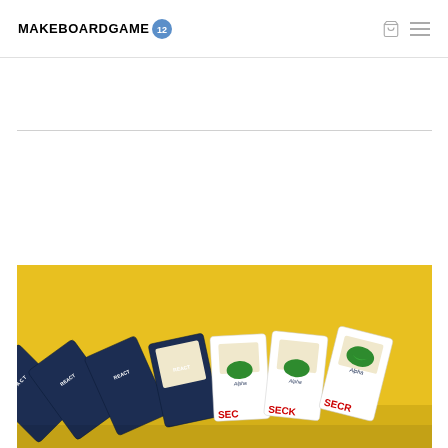MAKEBOARDGAME (with dice logo icon) — navigation icons (cart, menu)
[Figure (photo): A fan of board game cards spread out on a yellow background. The cards show two faces: dark navy blue backs with 'REACT' text, and white fronts labeled 'SECRET' in red text with a green oval logo and 'Alpha' text. The cards are fanned out showing approximately 7-8 cards.]